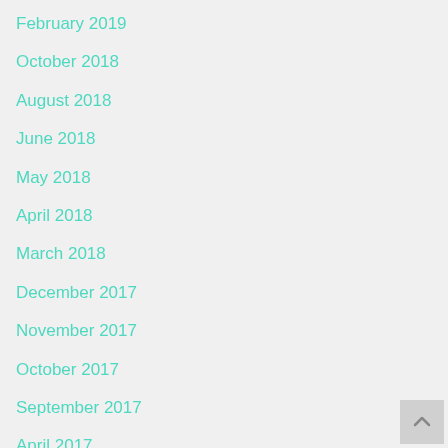February 2019
October 2018
August 2018
June 2018
May 2018
April 2018
March 2018
December 2017
November 2017
October 2017
September 2017
April 2017
January 2017
December 2016